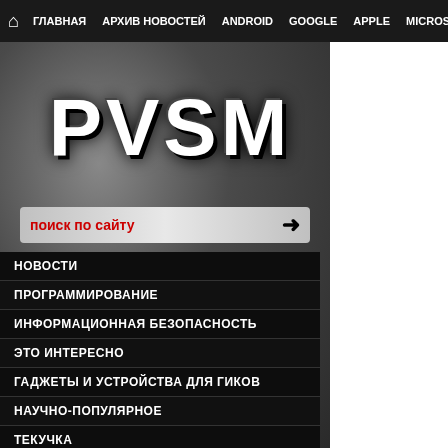🏠 ГЛАВНАЯ | АРХИВ НОВОСТЕЙ | ANDROID | GOOGLE | APPLE | MICROSOFT
[Figure (logo): PVSM website logo in large bold white text on dark textured background]
поиск по сайту →
НОВОСТИ
ПРОГРАММИРОВАНИЕ
ИНФОРМАЦИОННАЯ БЕЗОПАСНОСТЬ
ЭТО ИНТЕРЕСНО
ГАДЖЕТЫ И УСТРОЙСТВА ДЛЯ ГИКОВ
НАУЧНО-ПОПУЛЯРНОЕ
ТЕКУЧКА
JAVASCRIPT
DIY ИЛИ СДЕЛАЙ САМ
ANDROID
СИСТЕМНОЕ АДМИНИСТРИРОВАНИЕ
Arithmome
2019-01-26 в 3:58,
[Figure (photo): Blurred aerial/satellite photo with blue-green water background showing small land masses and some marks]